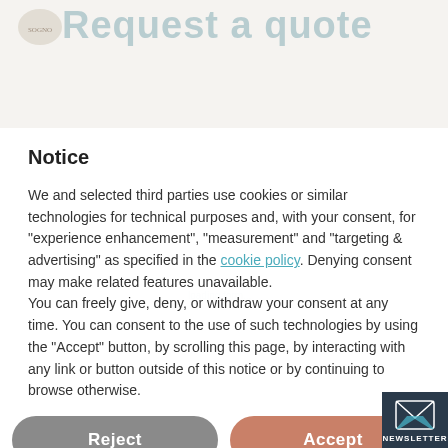Request a quote
Notice
We and selected third parties use cookies or similar technologies for technical purposes and, with your consent, for “experience enhancement”, “measurement” and “targeting & advertising” as specified in the cookie policy. Denying consent may make related features unavailable.
You can freely give, deny, or withdraw your consent at any time. You can consent to the use of such technologies by using the “Accept” button, by scrolling this page, by interacting with any link or button outside of this notice or by continuing to browse otherwise.
Reject
Accept
Via Città Gemellate, 60
47042 Zadina Pineta di Cesenatico (FC)
Italy
HOTEL CONTACTS
Learn more and customize
+39 0547 81877